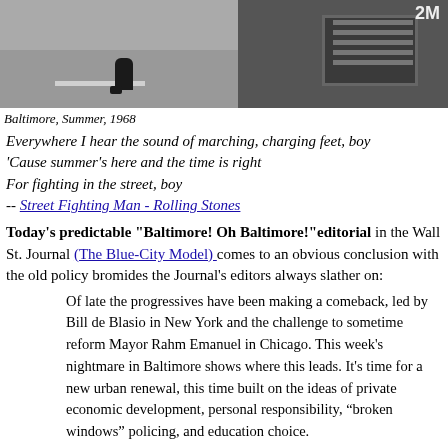[Figure (photo): Black and white photograph of a street scene in Baltimore in 1968, showing a crouching figure on a road with white lane markings and a large vehicle (possibly a fire truck or military vehicle) in the foreground right. Number '2M' visible on vehicle.]
Baltimore, Summer, 1968
Everywhere I hear the sound of marching, charging feet, boy 'Cause summer's here and the time is right For fighting in the street, boy -- Street Fighting Man - Rolling Stones
Today's predictable "Baltimore! Oh Baltimore!"editorial in the Wall St. Journal (The Blue-City Model) comes to an obvious conclusion with the old policy bromides the Journal's editors always slather on:
Of late the progressives have been making a comeback, led by Bill de Blasio in New York and the challenge to sometime reform Mayor Rahm Emanuel in Chicago. This week's nightmare in Baltimore shows where this leads. It's time for a new urban renewal, this time built on the ideas of private economic development, personal responsibility, “broken windows” policing, and education choice.
All of which would lead sensible people -- those not autonodding